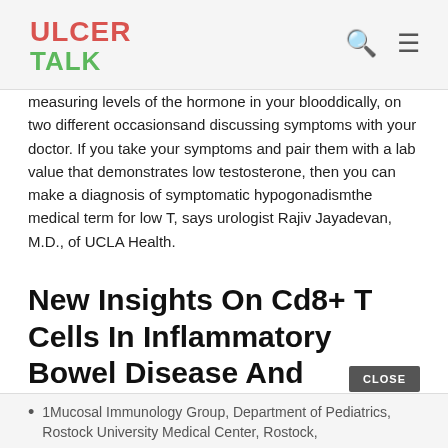ULCER TALK
measuring levels of the hormone in your blooddically, on two different occasionsand discussing symptoms with your doctor. If you take your symptoms and pair them with a lab value that demonstrates low testosterone, then you can make a diagnosis of symptomatic hypogonadismthe medical term for low T, says urologist Rajiv Jayadevan, M.D., of UCLA Health.
New Insights On Cd8+ T Cells In Inflammatory Bowel Disease And Therapeutic Approaches
1Mucosal Immunology Group, Department of Pediatrics, Rostock University Medical Center, Rostock,